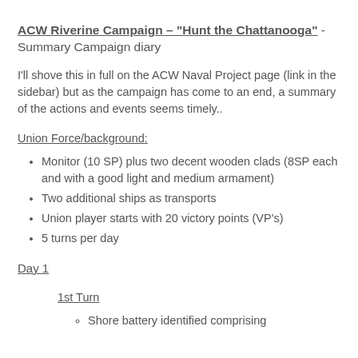ACW Riverine Campaign – "Hunt the Chattanooga" - Summary Campaign diary
I'll shove this in full on the ACW Naval Project page (link in the sidebar) but as the campaign has come to an end, a summary of the actions and events seems timely..
Union Force/background:
Monitor (10 SP)  plus two decent wooden clads (8SP each and with a good light and medium armament)
Two additional ships as transports
Union player starts with 20 victory points (VP's)
5 turns per day
Day 1
1st Turn
Shore battery identified comprising